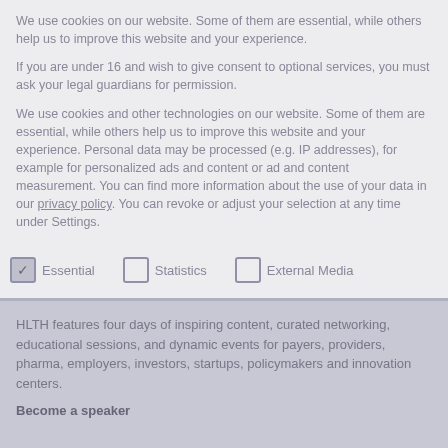We use cookies on our website. Some of them are essential, while others help us to improve this website and your experience.
If you are under 16 and wish to give consent to optional services, you must ask your legal guardians for permission.
We use cookies and other technologies on our website. Some of them are essential, while others help us to improve this website and your experience. Personal data may be processed (e.g. IP addresses), for example for personalized ads and content or ad and content measurement. You can find more information about the use of your data in our privacy policy. You can revoke or adjust your selection at any time under Settings.
Essential (checked)
Statistics (unchecked)
External Media (unchecked)
HLTH features four days of inspiring content, curated networking, educational sessions, and dynamic events for payers, providers, pharma, employers, investors, startups, policymakers and innovation centers.
Become a speaker